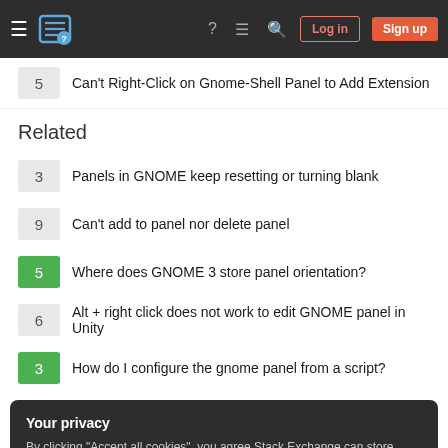Stack Exchange navigation bar with Log in and Sign up buttons
5  Can't Right-Click on Gnome-Shell Panel to Add Extension
Related
3  Panels in GNOME keep resetting or turning blank
9  Can't add to panel nor delete panel
5  Where does GNOME 3 store panel orientation?
6  Alt + right click does not work to edit GNOME panel in Unity
3  How do I configure the gnome panel from a script?
Your privacy
By clicking "Accept all cookies", you agree Stack Exchange can store cookies on your device and disclose information in accordance with our Cookie Policy.
1  gnome-control-panel (System Settings) window width will not